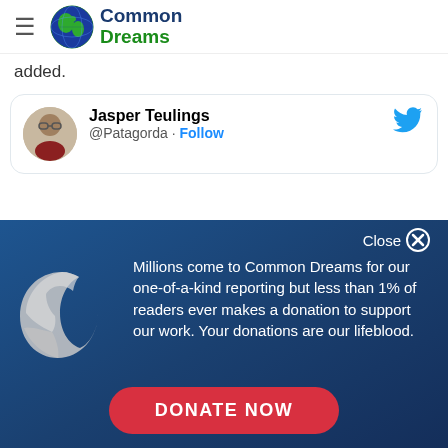Common Dreams
added.
[Figure (screenshot): Tweet embed card showing Jasper Teulings @Patagorda with Follow link and Twitter bird icon]
[Figure (infographic): Common Dreams donation overlay with globe icon. Text: Millions come to Common Dreams for our one-of-a-kind reporting but less than 1% of readers ever makes a donation to support our work. Your donations are our lifeblood. DONATE NOW button.]
Millions come to Common Dreams for our one-of-a-kind reporting but less than 1% of readers ever makes a donation to support our work. Your donations are our lifeblood.